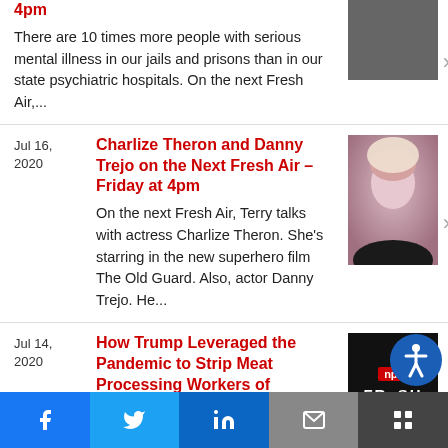4pm
There are 10 times more people with serious mental illness in our jails and prisons than in our state psychiatric hospitals. On the next Fresh Air,...
Jul 16, 2020
Charlize Theron and Danny Trejo on the Next Fresh Air – Friday at 4pm
On the next Fresh Air, Terry talks with actress Charlize Theron. She's starring in the new superhero film The Old Guard. Also, actor Danny Trejo. He...
Jul 14, 2020
How Trump Leveraged the Pandemic to Strip Meat Processing Workers of Protections on Fresh Air – Wednesday at 4pm